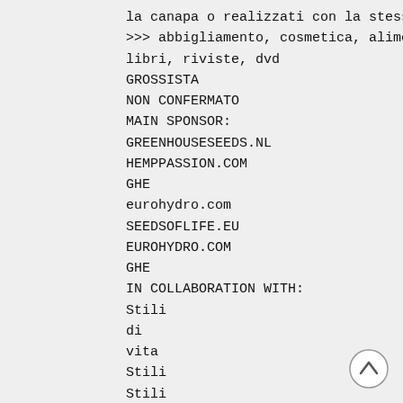la canapa o realizzati con la stessa
>>> abbigliamento, cosmetica, alimenti,
libri, riviste, dvd
GROSSISTA
NON CONFERMATO
MAIN SPONSOR:
GREENHOUSESEEDS.NL
HEMPPASSION.COM
GHE
eurohydro.com
SEEDSOFLIFE.EU
EUROHYDRO.COM
GHE
IN COLLABORATION WITH:
Stili
di
vita
Stili
Stili
di
alternativi
4
eurohydro.com
di
[Figure (other): A circular back-to-top button with an upward chevron arrow icon]